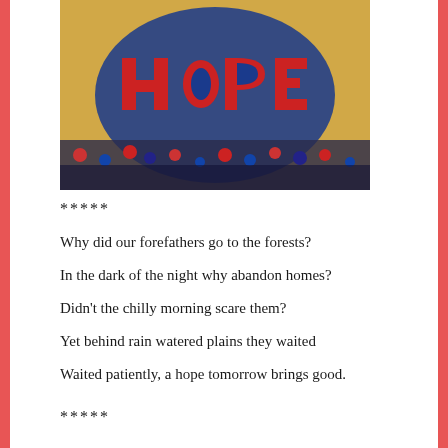[Figure (photo): Aerial view of a large gymnasium floor where people have arranged themselves and/or chairs in the shape of the word 'hope' in blue and red colors, forming a heart-like pattern around the letters.]
*****
Why did our forefathers go to the forests?
In the dark of the night why abandon homes?
Didn't the chilly morning scare them?
Yet behind rain watered plains they waited
Waited patiently, a hope tomorrow brings good.
*****